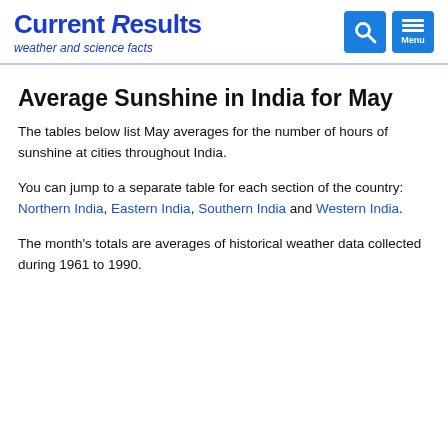Current Results — weather and science facts
Average Sunshine in India for May
The tables below list May averages for the number of hours of sunshine at cities throughout India.
You can jump to a separate table for each section of the country: Northern India, Eastern India, Southern India and Western India.
The month's totals are averages of historical weather data collected during 1961 to 1990.